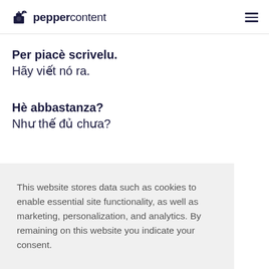peppercontent
Per piacè scrivelu.
Hãy viết nó ra.
Hè abbastanza?
Như thế đủ chưa?
This website stores data such as cookies to enable essential site functionality, as well as marketing, personalization, and analytics. By remaining on this website you indicate your consent.
Cookie Policy